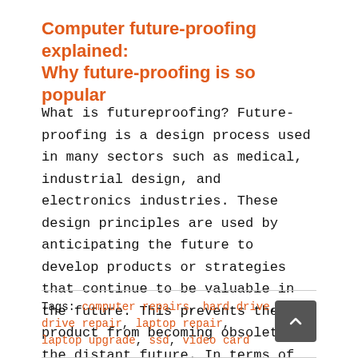Computer future-proofing explained: Why future-proofing is so popular
What is futureproofing? Future-proofing is a design process used in many sectors such as medical, industrial design, and electronics industries. These design principles are used by anticipating the future to develop products or strategies that continue to be valuable in the future. This prevents the product from becoming obsolete in the distant future. In terms of computer technology, future-proofing means
Tags: computer repairs, hard drive, hard drive repair, laptop repair, laptop upgrade, ssd, video card